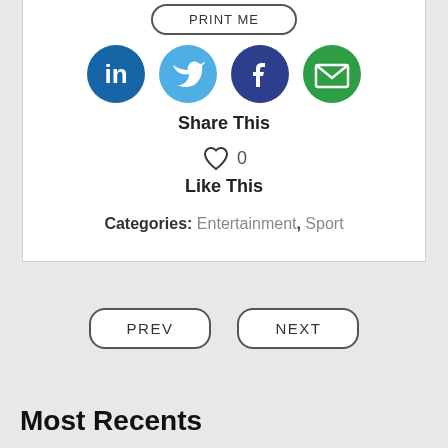[Figure (other): Social share icons: LinkedIn (blue circle with 'in'), Twitter (light blue circle with bird), Facebook (dark blue circle with 'f'), Email (green circle with envelope)]
Share This
[Figure (other): Heart icon outline with count 0]
Like This
Categories: Entertainment, Sport
PREV
NEXT
Most Recents